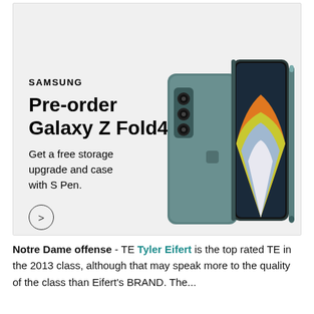[Figure (illustration): Samsung advertisement for Galaxy Z Fold4 pre-order. Light gray background with Samsung logo, headline 'Pre-order Galaxy Z Fold4', subtext 'Get a free storage upgrade and case with S Pen.' and a circular arrow button. Image of a teal/blue Galaxy Z Fold4 phone with S Pen on the right side.]
Notre Dame offense - TE Tyler Eifert is the top rated TE in the 2013 class, although that may speak more to the quality of the class than Eifert's BRAND. The...